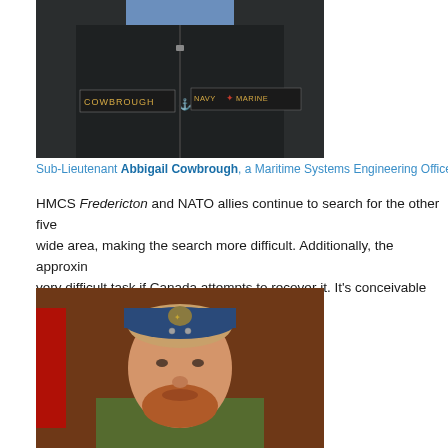[Figure (photo): Photo of Sub-Lieutenant Abbigail Cowbrough in navy uniform with COWBROUGH and NAVY MARINE patches visible]
Sub-Lieutenant Abbigail Cowbrough, a Maritime Systems Engineering Officer, originally f...
HMCS Fredericton and NATO allies continue to search for the other five... wide area, making the search more difficult. Additionally, the approxi... very difficult task if Canada attempts to recover it. It's conceivable tha...
[Figure (photo): Official military portrait of a male Canadian Armed Forces officer with red beard wearing a blue garrison cap with badge and olive flight suit, Canadian flag in background]